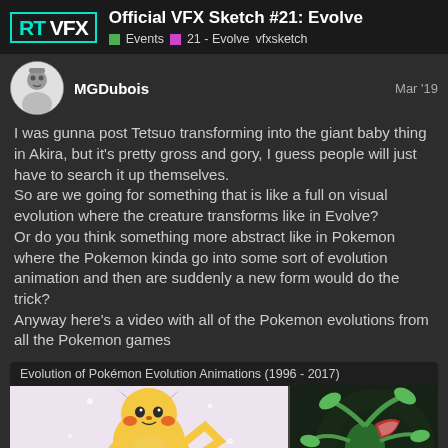RT VFX — Official VFX Sketch #21: Evolve | Events | 21 - Evolve | vfxsketch
MGDubois  Mar '19
I was gunna post Tetsuo transforming into the giant baby thing in Akira, but it's pretty gross and gory, I guess people will just have to search it up themselves.
So are we going for something that is like a full on visual evolution where the creature transforms like in Evolve?
Or do you think something more abstract like in Pokemon where the Pokemon kinda go into some sort of evolution animation and then are suddenly a new form would do the trick?
Anyway here's a video with all of the Pokemon evolutions from all the Pokemon games
[Figure (screenshot): Embedded video thumbnail titled 'Evolution of Pokémon Evolution Animations (1996 - 2017)' showing two frames: a Pikachu evolving scene from an older Pokemon game (pink/lavender background with Pikachu sprite) with text box 'What? PIKACHU is evolving!' and a dark scene with a green plant-like Pokemon from a newer game.]
8 / 21